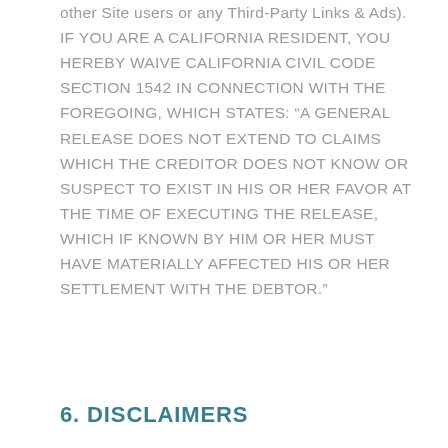other Site users or any Third-Party Links & Ads). IF YOU ARE A CALIFORNIA RESIDENT, YOU HEREBY WAIVE CALIFORNIA CIVIL CODE SECTION 1542 IN CONNECTION WITH THE FOREGOING, WHICH STATES: “A GENERAL RELEASE DOES NOT EXTEND TO CLAIMS WHICH THE CREDITOR DOES NOT KNOW OR SUSPECT TO EXIST IN HIS OR HER FAVOR AT THE TIME OF EXECUTING THE RELEASE, WHICH IF KNOWN BY HIM OR HER MUST HAVE MATERIALLY AFFECTED HIS OR HER SETTLEMENT WITH THE DEBTOR.”
6. DISCLAIMERS